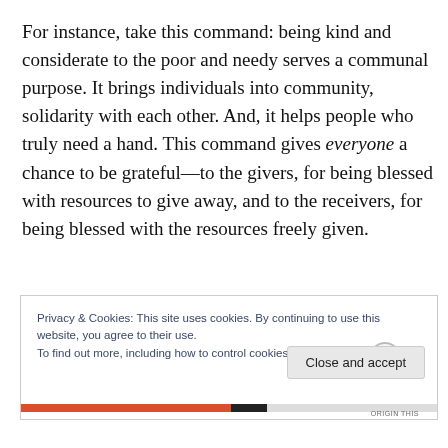For instance, take this command: being kind and considerate to the poor and needy serves a communal purpose. It brings individuals into community, solidarity with each other. And, it helps people who truly need a hand. This command gives everyone a chance to be grateful—to the givers, for being blessed with resources to give away, and to the receivers, for being blessed with the resources freely given.
Privacy & Cookies: This site uses cookies. By continuing to use this website, you agree to their use.
To find out more, including how to control cookies, see here: Cookie Policy